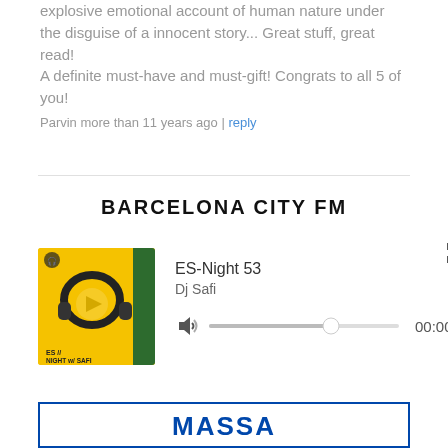explosive emotional account of human nature under the disguise of a innocent story... Great stuff, great read!
A definite must-have and must-gift! Congrats to all 5 of you!
Parvin more than 11 years ago | reply
BARCELONA CITY FM
[Figure (screenshot): Music player widget showing album art for 'ES Night w/ Safi' on yellow background with headphones, track title ES-Night 53, artist Dj Safi, audio scrubber, and time 00:00]
[Figure (logo): Partial banner logo at bottom of page, partially cut off]